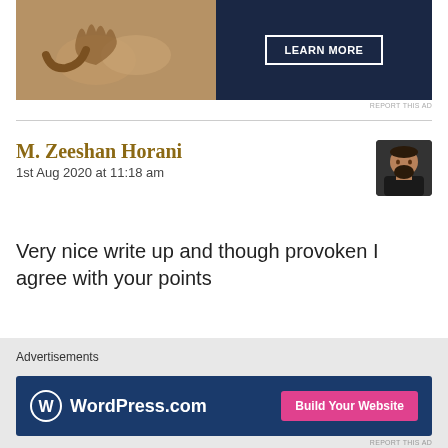[Figure (photo): Top advertisement banner showing a person's hands in a dark blue background with a 'LEARN MORE' button]
REPORT THIS AD
M. Zeeshan Horani
1st Aug 2020 at 11:18 am
[Figure (photo): User avatar showing a bearded man with shaved head]
Very nice write up and though provoken I agree with your points
★ Liked by 2 people
[Figure (other): WordPress.com advertisement banner with 'Build Your Website' button]
Advertisements
REPORT THIS AD